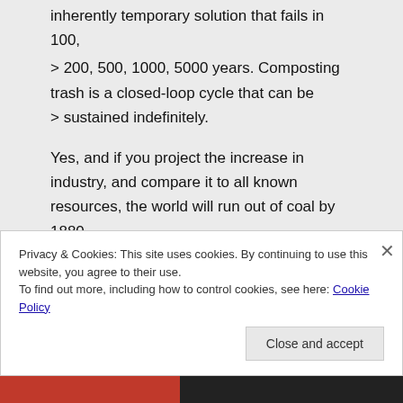inherently temporary solution that fails in 100,
> 200, 500, 1000, 5000 years. Composting trash is a closed-loop cycle that can be > sustained indefinitely.
Yes, and if you project the increase in industry, and compare it to all known resources, the world will run out of coal by 1880.
The technological differences we can
Privacy & Cookies: This site uses cookies. By continuing to use this website, you agree to their use.
To find out more, including how to control cookies, see here: Cookie Policy